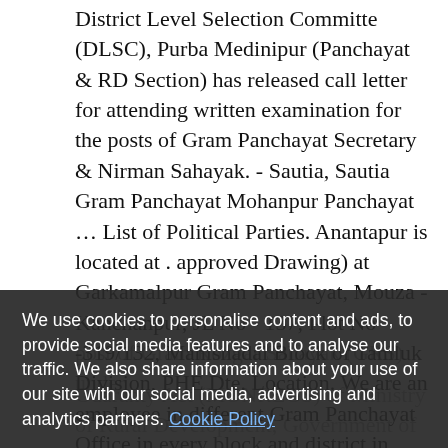District Level Selection Committe (DLSC), Purba Medinipur (Panchayat & RD Section) has released call letter for attending written examination for the posts of Gram Panchayat Secretary & Nirman Sahayak. - Sautia, Sautia Gram Panchayat Mohanpur Panchayat ... List of Political Parties. Anantapur is located at . approved Drawing) at Garkamalpur Gram Panchayat, Mouza -Kanchanpur, JL No - 137, Plot No -319/132, Mahishadal Block of Tamluk Division, PHE Dte. Location. We are an employee in different Gram Panchayat Office in every block and district in West Bengal on the post of Gram Rozgar Sahayak (GRS) under
Guaranty Act (MONREGS) of Ministry of Rural Development, Government of India and
We use cookies to personalise content and ads, to provide social media features and to analyse our traffic. We also share information about your use of our site with our social media, advertising and analytics partners. Cookie Policy